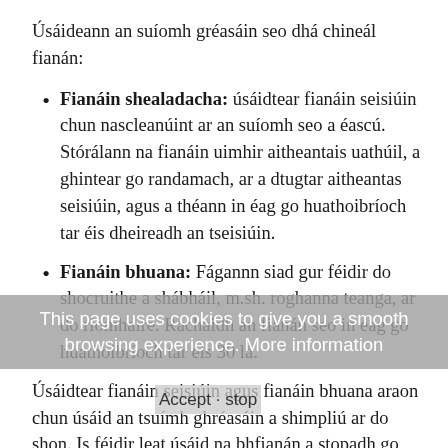Úsáideann an suíomh gréasáin seo dhá chineál fianán:
Fianáin shealadacha: úsáidtear fianáin seisiúin chun nascleanúint ar an suíomh seo a éascú. Stórálann na fianáin uimhir aitheantais uathúil, a ghintear go randamach, ar a dtugtar aitheantas seisiúin, agus a théann in éag go huathoibríoch tar éis dheireadh an tseisiúin.
Fianáin bhuana: Fágannn siad gur féidir do shocruithe a shábháil, m.sh. roghanna teanga, ar do ríomhaire. Rachaidh an fianán seo in éag go huathoibríoch tar éis 30 lá.
Úsáidtear fianáin seisiúin agus fianáin bhuana araon chun úsáid an tsuímh ghréasáin a shimpliú ar do shon. Is féidir leat úsáid na bhfianán a stopadh go sonrach don suíomh seo, nó go ginearálta do gach suíomh gréasáin, trí úsáid a bhaint as na socruithe ar do bhrabhsálaí Idirlín. Is féidir
This page uses cookies to give you a smooth browsing experience. More information